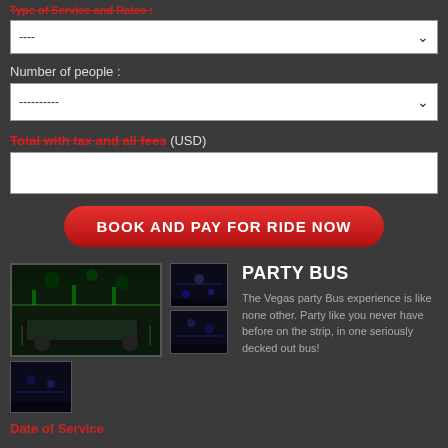Type of Service and Rates :
----
Number of people :
----------
Total with tax and all fees (USD)
BOOK AND PAY FOR RIDE NOW
PARTY BUS
The Vegas party Bus experience is like none other. Party like you never have before on the strip, in one seriously decked out bus!
Date of Service